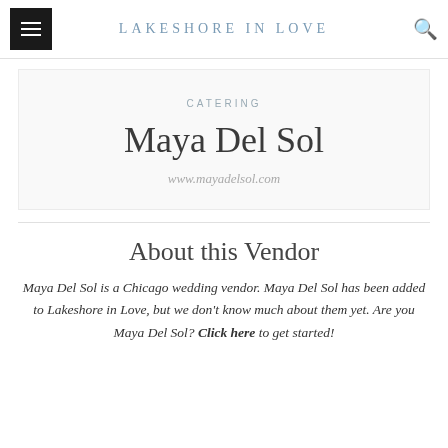LAKESHORE IN LOVE
CATERING
Maya Del Sol
www.mayadelsol.com
About this Vendor
Maya Del Sol is a Chicago wedding vendor. Maya Del Sol has been added to Lakeshore in Love, but we don't know much about them yet. Are you Maya Del Sol? Click here to get started!